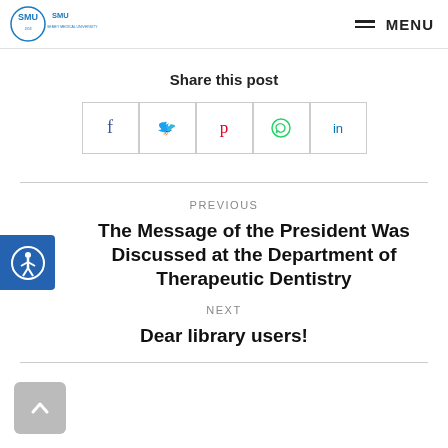SMU SEMEY MEDICAL UNIVERSITY | MENU
Share this post
[Figure (other): Social media share buttons: Facebook (f), Twitter bird icon, Pinterest (p), WhatsApp, LinkedIn (in)]
PREVIOUS
The Message of the President Was Discussed at the Department of Therapeutic Dentistry
NEXT
Dear library users!